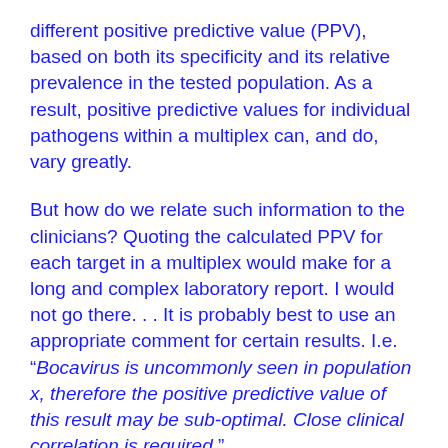different positive predictive value (PPV), based on both its specificity and its relative prevalence in the tested population. As a result, positive predictive values for individual pathogens within a multiplex can, and do, vary greatly.
But how do we relate such information to the clinicians? Quoting the calculated PPV for each target in a multiplex would make for a long and complex laboratory report. I would not go there. . . It is probably best to use an appropriate comment for certain results. I.e. “Bocavirus is uncommonly seen in population x, therefore the positive predictive value of this result may be sub-optimal. Close clinical correlation is required.”
Of course, clinicians can increase the degree of certainty by clarifying the “pre-test probability”. I.e. A positive bocavirus result in a 6 month old during the winter season is much more likely to represent a true result than a positive